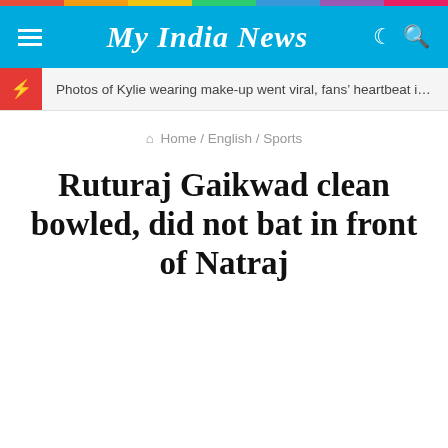My India News
Photos of Kylie wearing make-up went viral, fans' heartbeat increa…
Home / English / Sports
Ruturaj Gaikwad clean bowled, did not bat in front of Natraj